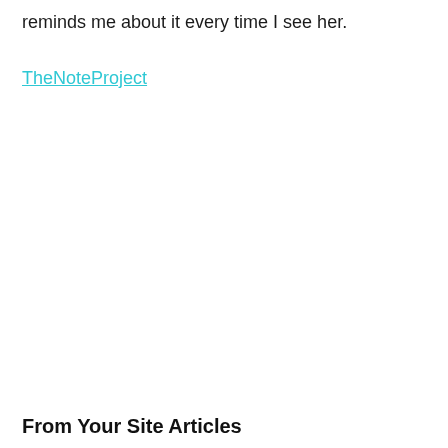reminds me about it every time I see her.
TheNoteProject
From Your Site Articles